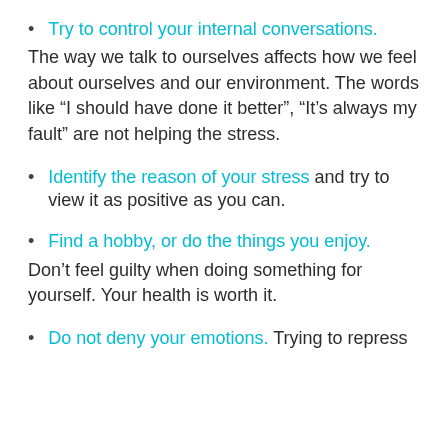Try to control your internal conversations. The way we talk to ourselves affects how we feel about ourselves and our environment. The words like “I should have done it better”, “It’s always my fault” are not helping the stress.
Identify the reason of your stress and try to view it as positive as you can.
Find a hobby, or do the things you enjoy. Don’t feel guilty when doing something for yourself. Your health is worth it.
Do not deny your emotions. Trying to repress